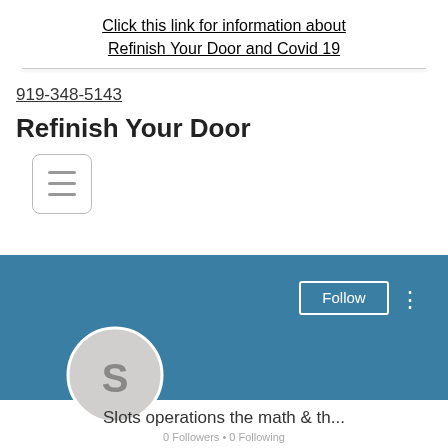Click this link for information about Refinish Your Door and Covid 19
919-348-5143
Refinish Your Door
[Figure (screenshot): Hamburger menu button icon — three horizontal lines inside a rounded rectangle border]
[Figure (screenshot): Social media profile card with teal/blue banner background, a Follow button with white border, three vertical dots menu, a circular avatar with letter S, profile name 'Slots operations the math & th...', and '0 Followers • 0 Following' beneath]